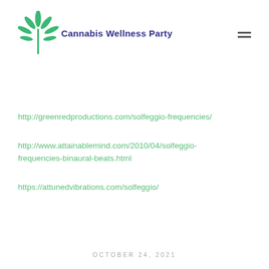[Figure (logo): Cannabis Wellness Party logo with a green cannabis leaf and bold dark blue text]
http://greenredproductions.com/solfeggio-frequencies/
http://www.attainablemind.com/2010/04/solfeggio-frequencies-binaural-beats.html
https://attunedvibrations.com/solfeggio/
OCTOBER 24, 2021